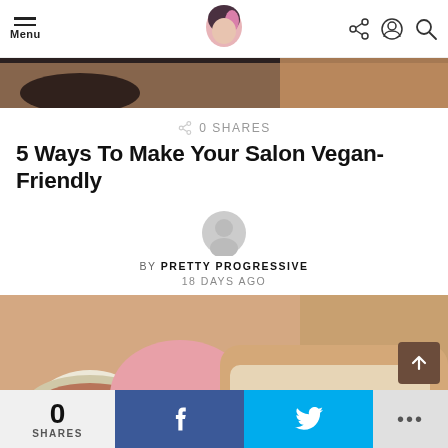Menu | Pretty Progressive logo | share, user, search icons
[Figure (photo): Top cropped hero image showing a dark background with skin tones]
0 SHARES
5 Ways To Make Your Salon Vegan-Friendly
[Figure (illustration): Grey circular author avatar placeholder]
BY PRETTY PROGRESSIVE
18 DAYS AGO
[Figure (photo): A gloved hand applying wax with a wooden stick to a person's arm, with a wax pot nearby]
0 SHARES | f (Facebook share) | Twitter bird icon | ...